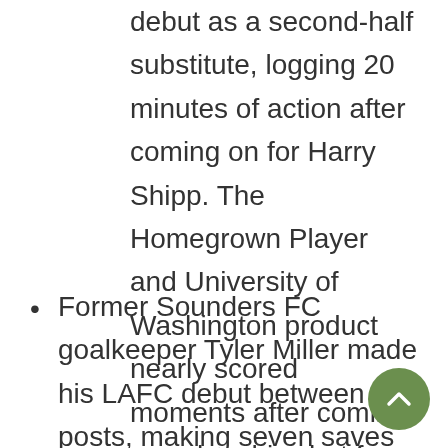debut as a second-half substitute, logging 20 minutes of action after coming on for Harry Shipp. The Homegrown Player and University of Washington product nearly scored moments after coming on, when his shot from distance took a deflection and hit the crossbar.
Former Sounders FC goalkeeper Tyler Miller made his LAFC debut between the posts, making seven saves and recording his first career MLS shutout. Miller spent the past three years with Sounders FC and S2 before